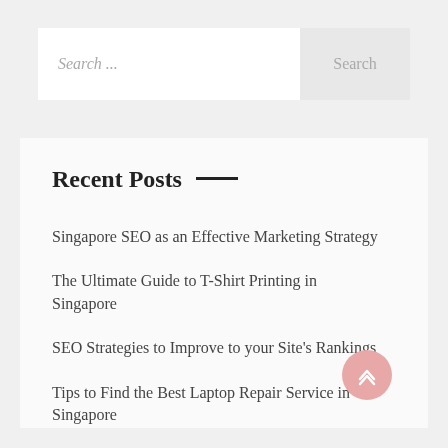Search ...
Search
Recent Posts
Singapore SEO as an Effective Marketing Strategy
The Ultimate Guide to T-Shirt Printing in Singapore
SEO Strategies to Improve to your Site's Rankings
Tips to Find the Best Laptop Repair Service in Singapore
Destinations to Visit On a Japan Alps Tour